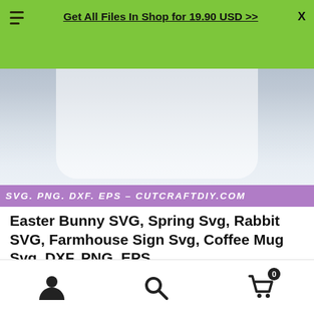Get All Files In Shop for 19.90 USD >>
[Figure (photo): Product photo showing a white shirt with Easter Bunny SVG design, with a purple banner overlay reading SVG. PNG. DXF. EPS - CUTCRAFTDIY.COM]
Easter Bunny SVG, Spring Svg, Rabbit SVG, Farmhouse Sign Svg, Coffee Mug Svg, DXF, PNG, EPS
☆☆☆☆☆ (6 customer reviews)
USD 1.65
Navigation icons: user, search, cart (0)